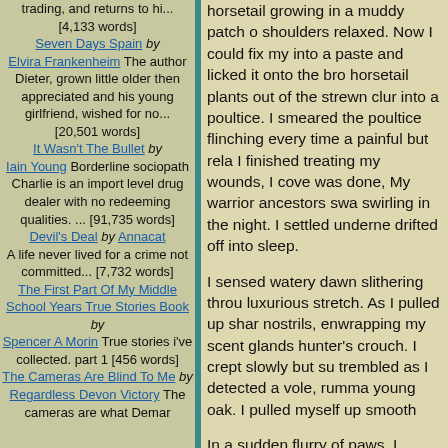trading, and returns to hi... [4,133 words]
Seven Days Spain by Elvira Frankenheim The author Dieter, grown little older then appreciated and his young girlfriend, wished for no... [20,501 words]
It Wasn't The Bullet by Iain Young Borderline sociopath Charlie is an import level drug dealer with no redeeming qualities. ... [91,735 words]
Devil's Deal by Annacat A life never lived for a crime not committed... [7,732 words]
The First Part Of My Middle School Years True Stories Book by Spencer A Morin True stories i've collected. part 1 [456 words]
The Cameras Are Blind To Me by Regardless Devon Victory The cameras are what Demar
horsetail growing in a muddy patch of shoulders relaxed. Now I could fix my into a paste and licked it onto the bro horsetail plants out of the strewn clu into a poultice. I smeared the poultice flinching every time a painful but rela I finished treating my wounds, I cove was done, My warrior ancestors swa swirling in the night. I settled underne drifted off into sleep.
I sensed watery dawn slithering throu luxurious stretch. As I pulled up shar nostrils, enwrapping my scent glands hunter's crouch. I crept slowly but su trembled as I detected a vole, rumma young oak. I pulled myself up smooth
In a sudden flurry of paws, I jumped! leafmold, and as it did so, the vole bo away. I scampered after it, my pelt ti good paw on it and broke it's fragile s thanks to Starclan under my breath, kill. When I finished the body and tai earth. I buried the head and bones a